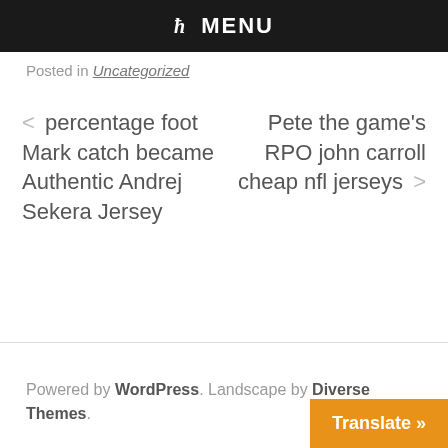ħ MENU
Posted in Uncategorized
< percentage foot Mark catch became Authentic Andrej Sekera Jersey
Pete the game's RPO john carroll cheap nfl jerseys >
Powered by WordPress. Landscape by Diverse Themes.
Translate »